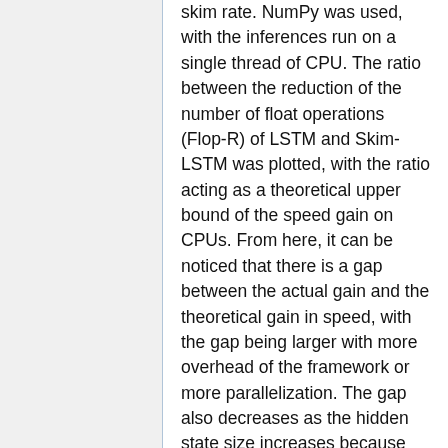skim rate. NumPy was used, with the inferences run on a single thread of CPU. The ratio between the reduction of the number of float operations (Flop-R) of LSTM and Skim-LSTM was plotted, with the ratio acting as a theoretical upper bound of the speed gain on CPUs. From here, it can be noticed that there is a gap between the actual gain and the theoretical gain in speed, with the gap being larger with more overhead of the framework or more parallelization. The gap also decreases as the hidden state size increases because the overhead becomes negligible with very large matrix operations. This indicates that Skim-RNN provides greater benefits for RNNs with larger hidden state size. However, combining Skim-RNN with a CPU-based framework can lead to substantially lower latency than GPUs